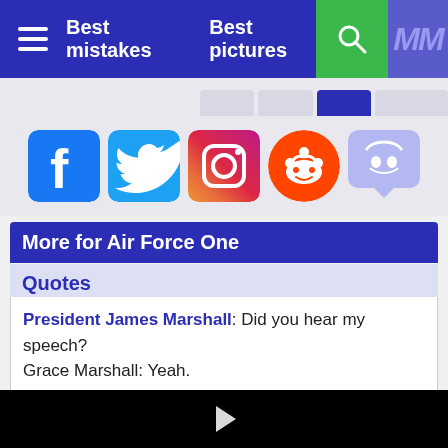Best mistakes  Best pictures
[Figure (screenshot): Social media icons: Facebook, Twitter, Instagram, Reddit, Discord]
More for Air Force One
Quotes
President James Marshall: Did you hear my speech?
Grace Marshall: Yeah.
President James Marshall: Yeah?
[Figure (screenshot): Black video player area with a white play button triangle in the center]